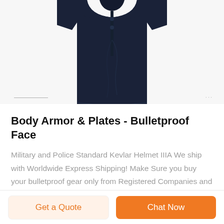[Figure (photo): Partial view of a dark navy body armor / bulletproof vest shirt, shown from the upper torso down, on a white background. A horizontal line and ellipsis dots appear below the image as part of a carousel indicator.]
Body Armor & Plates - Bulletproof Face
Military and Police Standard Kevlar Helmet IIIA We ship with Worldwide Express Shipping! Make Sure you buy your bulletproof gear only from Registered Companies and not from private people! 800x600 Normal 0 false false false EN-US X-NONE HE MicrosoftInternetExplorer4 This Model Complies with NIJ Standard-0101.06 for Ballistic ...
Get a Quote
Chat Now